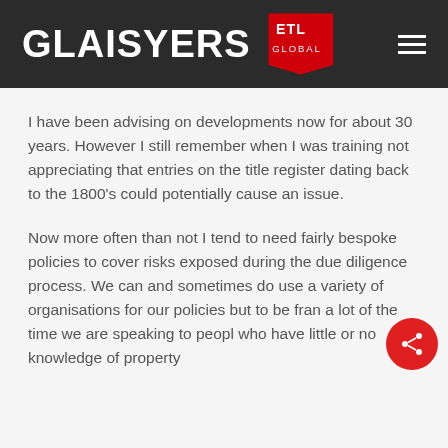[Figure (logo): Glaisyers ETL Global logo on dark header with hamburger menu icon]
I have been advising on developments now for about 30 years. However I still remember when I was training not appreciating that entries on the title register dating back to the 1800's could potentially cause an issue.
Now more often than not I tend to need fairly bespoke policies to cover risks exposed during the due diligence process. We can and sometimes do use a variety of organisations for our policies but to be frank a lot of the time we are speaking to people who have little or no knowledge of property